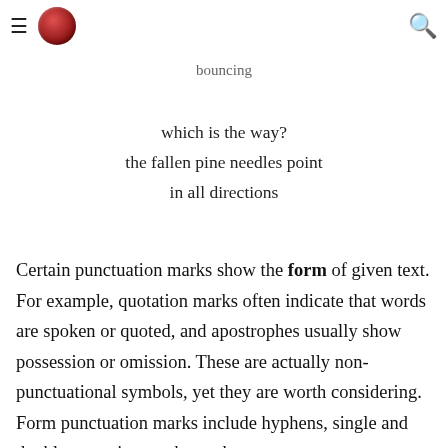≡ [logo] [search]
bouncing
which is the way?
the fallen pine needles point
in all directions
Certain punctuation marks show the form of given text. For example, quotation marks often indicate that words are spoken or quoted, and apostrophes usually show possession or omission. These are actually non-punctuational symbols, yet they are worth considering. Form punctuation marks include hyphens, single and double quotation marks, and